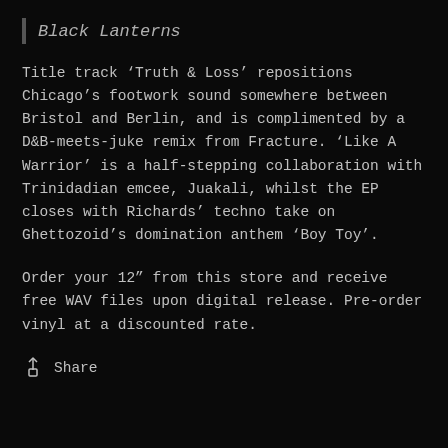Black Lanterns
Title track ‘Truth & Loss’ repositions Chicago’s footwork sound somewhere between Bristol and Berlin, and is complimented by a D&B-meets-juke remix from Fracture. ‘Like A Warrior’ is a half-stepping collaboration with Trinidadian emcee, Juakali, whilst the EP closes with Richards’ techno take on Ghettozoid’s domination anthem ‘Boy Toy’.
Order your 12” from this store and receive free WAV files upon digital release. Pre-order vinyl at a discounted rate.
↑  Share